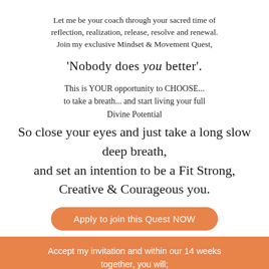Let me be your coach through your sacred time of reflection, realization, release, resolve and renewal. Join my exclusive Mindset & Movement Quest,
'Nobody does you better'.
This is YOUR opportunity to CHOOSE... to take a breath... and start living your full Divine Potential
So close your eyes and just take a long slow deep breath, and set an intention to be a Fit Strong, Creative & Courageous you.
Apply to join this Quest NOW
Accept my invitation and within our 14 weeks together, you will;
Get Fit & Resilient. Re-energize every cell in your body through deep Pilates body mind work and empowering emotional regulation. Learning to love and trust your strong, flexible beautiful body, having the stamina